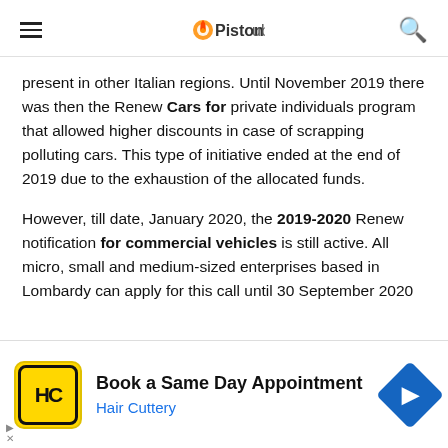PistonHubs navigation header with hamburger menu, logo, and search icon
present in other Italian regions. Until November 2019 there was then the Renew Cars for private individuals program that allowed higher discounts in case of scrapping polluting cars. This type of initiative ended at the end of 2019 due to the exhaustion of the allocated funds.
However, till date, January 2020, the 2019-2020 Renew notification for commercial vehicles is still active. All micro, small and medium-sized enterprises based in Lombardy can apply for this call until 30 September 2020 and receive a non-refundable grant for the purchase of a
[Figure (infographic): Hair Cuttery advertisement banner: Book a Same Day Appointment, Hair Cuttery, with HC logo and navigation arrow icon]